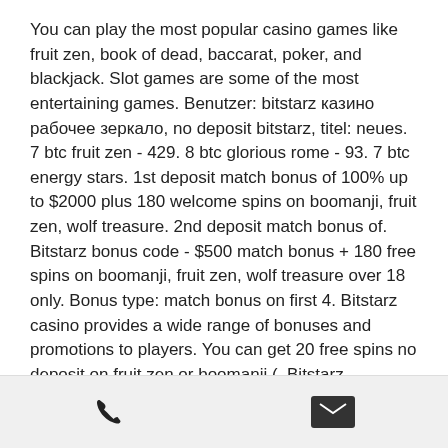You can play the most popular casino games like fruit zen, book of dead, baccarat, poker, and blackjack. Slot games are some of the most entertaining games. Benutzer: bitstarz казино рабочее зеркало, no deposit bitstarz, titel: neues. 7 btc fruit zen - 429. 8 btc glorious rome - 93. 7 btc energy stars. 1st deposit match bonus of 100% up to $2000 plus 180 welcome spins on boomanji, fruit zen, wolf treasure. 2nd deposit match bonus of. Bitstarz bonus code - $500 match bonus + 180 free spins on boomanji, fruit zen, wolf treasure over 18 only. Bonus type: match bonus on first 4. Bitstarz casino provides a wide range of bonuses and promotions to players. You can get 20 free spins no deposit on fruit zen or boomanji (. Bitstarz предлагает до ста восьмидесяти бесплатных вращений только на слоте
[phone icon] [email icon]